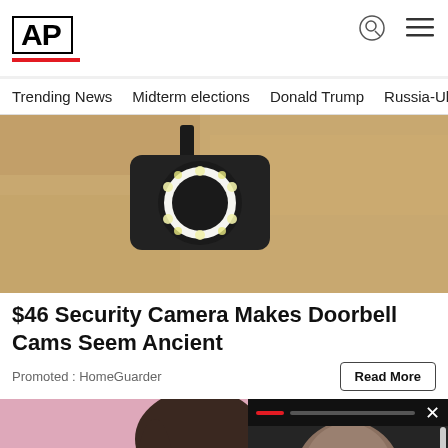[Figure (logo): AP (Associated Press) logo with red underline]
Trending News   Midterm elections   Donald Trump   Russia-Ukr
[Figure (photo): Security camera mounted on wall with circular lens and LED lights]
$46 Security Camera Makes Doorbell Cams Seem Ancient
Promoted : HomeGuarder
[Figure (photo): Young woman with dark hair against pink background]
[Figure (photo): Older man with glasses in dark setting, mini video player overlay]